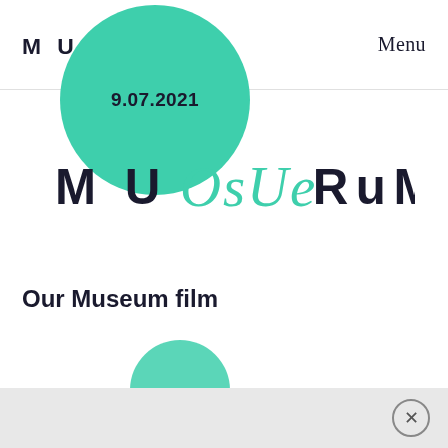[Figure (logo): MUOSUERUM logo in header — letters M U in dark navy, O S U in teal cursive, E R U M in dark navy, spaced apart]
Menu
[Figure (infographic): Large teal circle with bold text '9.07.2021' centered inside it, overlapping the large MUOSUERUM logo below]
[Figure (logo): Large MUOSUERUM logo — letters M U in dark navy, O S U in teal cursive, E R U M in dark navy, large size centered on page]
Our Museum film
[Figure (other): Partially visible teal circle at the bottom of the page, cut off by the bottom bar]